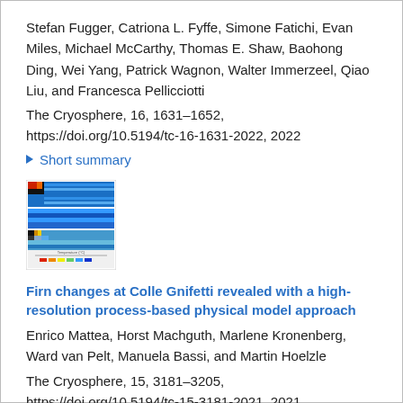Stefan Fugger, Catriona L. Fyffe, Simone Fatichi, Evan Miles, Michael McCarthy, Thomas E. Shaw, Baohong Ding, Wei Yang, Patrick Wagnon, Walter Immerzeel, Qiao Liu, and Francesca Pellicciotti
The Cryosphere, 16, 1631–1652, https://doi.org/10.5194/tc-16-1631-2022, 2022
▶ Short summary
[Figure (other): Thumbnail image showing a scientific plot with color maps — multiple horizontal bands in blue, cyan, yellow, red and black color gradients, representing firn or temperature data panels.]
Firn changes at Colle Gnifetti revealed with a high-resolution process-based physical model approach
Enrico Mattea, Horst Machguth, Marlene Kronenberg, Ward van Pelt, Manuela Bassi, and Martin Hoelzle
The Cryosphere, 15, 3181–3205, https://doi.org/10.5194/tc-15-3181-2021, 2021